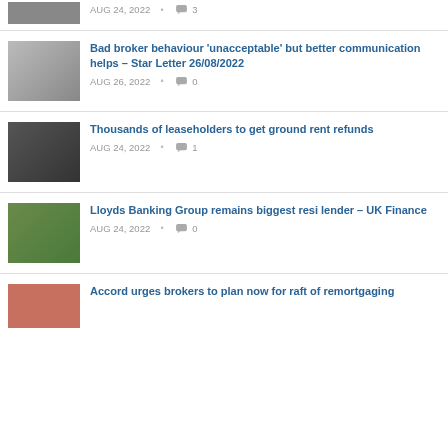AUG 24, 2022 • 3
[Figure (photo): Partial image at top, cut off]
Bad broker behaviour 'unacceptable' but better communication helps – Star Letter 26/08/2022
AUG 26, 2022 • 0
[Figure (photo): Person holding coins in palm of hand against dark background]
Thousands of leaseholders to get ground rent refunds
AUG 24, 2022 • 1
[Figure (photo): House model with coins and green plants background]
Lloyds Banking Group remains biggest resi lender – UK Finance
AUG 24, 2022 • 0
[Figure (photo): Person in suit, partially visible]
Accord urges brokers to plan now for raft of remortgaging